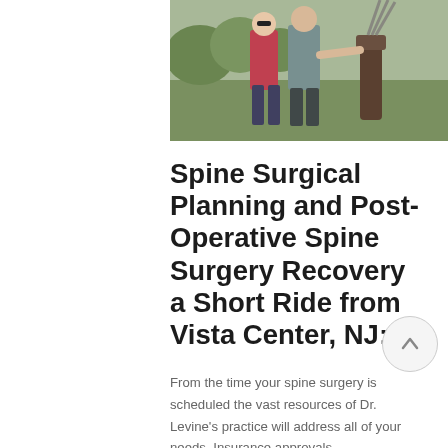[Figure (photo): Photograph of people outdoors near golf equipment, partially cropped at top of page]
Spine Surgical Planning and Post-Operative Spine Surgery Recovery a Short Ride from Vista Center, NJ:
From the time your spine surgery is scheduled the vast resources of Dr. Levine's practice will address all of your needs. Insurance approvals,